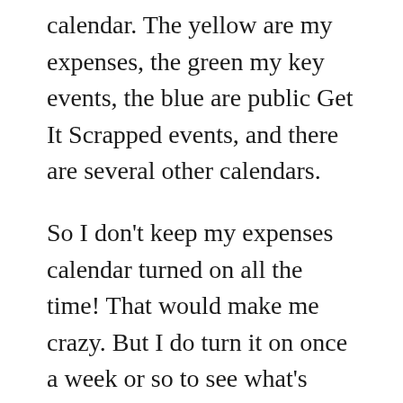calendar. The yellow are my expenses, the green my key events, the blue are public Get It Scrapped events, and there are several other calendars.

So I don't keep my expenses calendar turned on all the time! That would make me crazy. But I do turn it on once a week or so to see what's coming at me! This is especially important for the annually recurring amounts that I'm not used to budgeting for. For example, here the